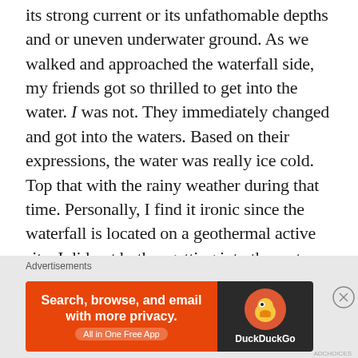its strong current or its unfathomable depths and or uneven underwater ground. As we walked and approached the waterfall side, my friends got so thrilled to get into the water. I was not. They immediately changed and got into the waters. Based on their expressions, the water was really ice cold. Top that with the rainy weather during that time. Personally, I find it ironic since the waterfall is located on a geothermal active site. I did not bother getting into the water because even by the water mists I was already chilling and literally shaking. Yes, I am that cold guy. I get too sensitive to cold temperatures. Taking several
Advertisements
[Figure (other): DuckDuckGo advertisement banner: orange left panel with text 'Search, browse, and email with more privacy. All in One Free App', dark right panel with DuckDuckGo duck logo and brand name.]